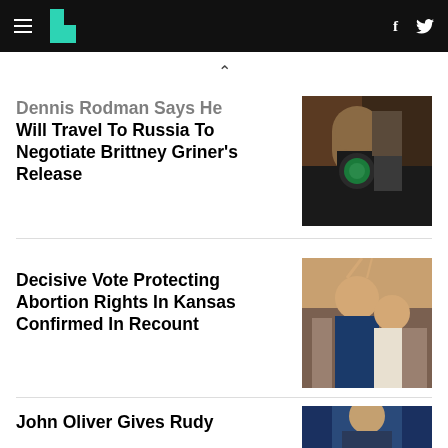HuffPost navigation bar with hamburger menu, logo, and social icons (f, Twitter)
Dennis Rodman Says He Will Travel To Russia To Negotiate Brittney Griner's Release
[Figure (photo): Photo of Dennis Rodman at an event, wearing a black t-shirt with a logo]
Decisive Vote Protecting Abortion Rights In Kansas Confirmed In Recount
[Figure (photo): Photo of people celebrating with arms raised at a Kansas abortion rights vote event]
John Oliver Gives Rudy
[Figure (photo): Photo of person in a blue setting, partially visible]